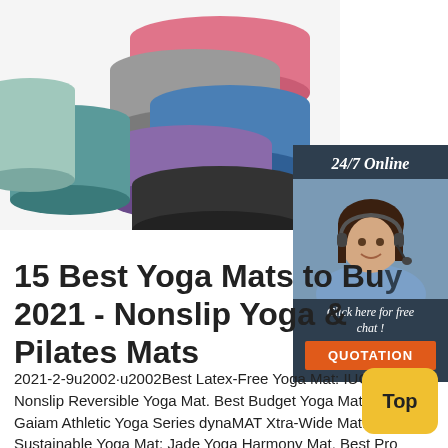[Figure (photo): Multiple rolled-up yoga mats of various colors (pink, gray, blue, purple, black, teal) stacked together on a white background]
[Figure (infographic): 24/7 Online chat widget with a photo of a smiling woman wearing a headset, dark blue/navy background, 'Click here for free chat!' text, and an orange QUOTATION button]
15 Best Yoga Mats to Buy 2021 - Nonslip Yoga & Pilates Mats
2021-2-9u2002·u2002Best Latex-Free Yoga Mat: IUGA Nonslip Reversible Yoga Mat. Best Budget Yoga Mat: Gaiam Athletic Yoga Series dynaMAT Xtra-Wide Mat. Most Sustainable Yoga Mat: Jade Yoga Harmony Mat. Best Pro Yogi Favorite: